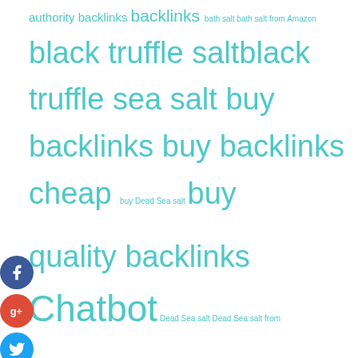[Figure (infographic): Tag cloud with social media share icons on the left side. Tags include: authority backlinks, backlinks, bath salt, bath salt from Amazon, black truffle salt, black truffle sea salt, buy backlinks, buy backlinks cheap, buy Dead Sea salt, buy quality backlinks, Chatbot, Dead Sea salt, Dead Sea salt from Amazon, digital marketing, Digital Marketing Agency, digital marketing course, digital marketing courses, email marketing, Facebook Chatbot, Facebook Messenger Bot, fb messenger bot, Himalayan pink salt, Himalayan salt, kids marketing automation course, marketing courses, Messenger Bot, military tents, online marketing courses, online pharmacy, Pink Himalayan salt, Pink salt, pure Dead Sea salt, Responsive Web Design, truffle salt, truffle.]